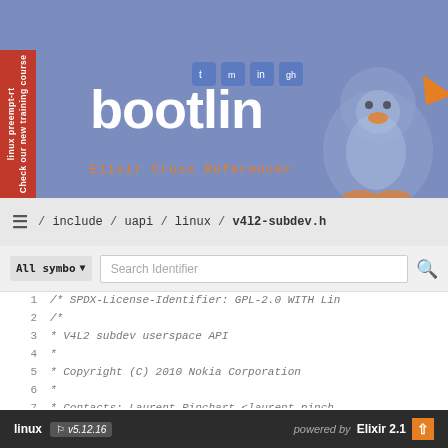[Figure (screenshot): Bootlin website header with navigation menu (HOME, ENGINEERING, TRAINING, DOCS, COMMUNITY, COMPANY), bootlin logo in white on blue/purple background, Elixir Cross Referencer subtitle in orange monospace, Tux penguin illustration, red sidebar with 'linux preempt-rt Check our new training course' text, and social media icons]
/ include / uapi / linux / v4l2-subdev.h
All symbo ▾  Search Identifier
1   /* SPDX-License-Identifier: GPL-2.0 WITH Lin
2    /*
3     * V4L2 subdev userspace API
4     *
5     * Copyright (C) 2010 Nokia Corporation
6     *
7     * Contacts: Laurent Pinchart <laurent.pinch
8     *
linux  v5.12.16    powered by  Elixir 2.1